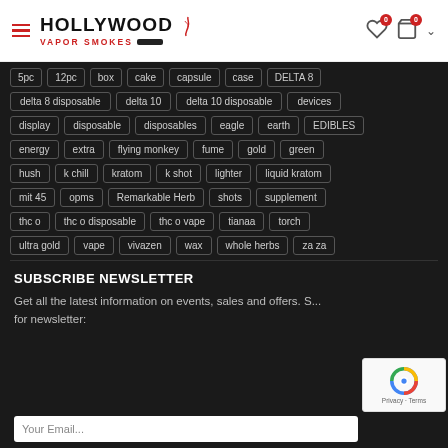Hollywood Vapor Smokes
5pc  12pc  box  cake  capsule  case  DELTA 8  delta 8 disposable  delta 10  delta 10 disposable  devices  display  disposable  disposables  eagle  earth  EDIBLES  energy  extra  flying monkey  fume  gold  green  hush  k chill  kratom  k shot  lighter  liquid kratom  mit 45  opms  Remarkable Herb  shots  supplement  thc o  thc o disposable  thc o vape  tianaa  torch  ultra gold  vape  vivazen  wax  whole herbs  za za
SUBSCRIBE NEWSLETTER
Get all the latest information on events, sales and offers. S... for newsletter: